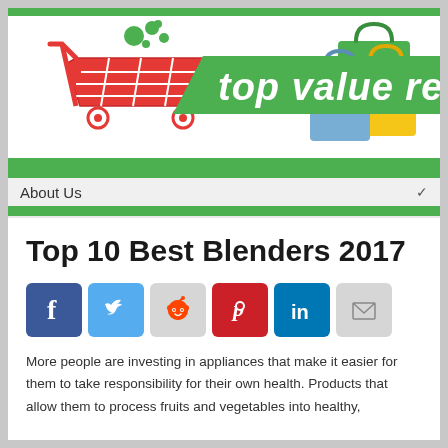[Figure (logo): Top Value Reviews logo with red shopping cart, green bubbles, green parallelogram banner with white italic text 'top value reviews', and shopping bags on the right]
About Us
Top 10 Best Blenders 2017
[Figure (infographic): Social media share buttons: Facebook, Twitter, Reddit, Pinterest, LinkedIn, Email]
More people are investing in appliances that make it easier for them to take responsibility for their own health. Products that allow them to process fruits and vegetables into healthy,